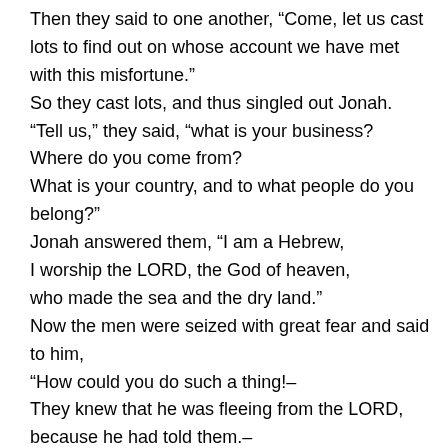Then they said to one another, “Come, let us cast lots to find out on whose account we have met with this misfortune.”
So they cast lots, and thus singled out Jonah.
“Tell us,” they said, “what is your business?
Where do you come from?
What is your country, and to what people do you belong?”
Jonah answered them, “I am a Hebrew,
I worship the LORD, the God of heaven,
who made the sea and the dry land.”
Now the men were seized with great fear and said to him,
“How could you do such a thing!–
They knew that he was fleeing from the LORD,
because he had told them.–
They asked, “What shall we do with you,
that the sea may quiet down for us?”